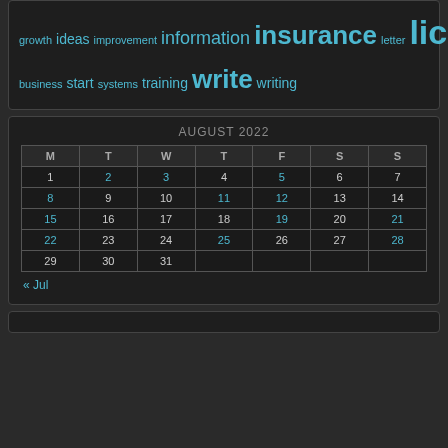growth ideas improvement information insurance letter license management marketing methods online opportunities programs quotes reference reviews service small small business start systems training write writing
| M | T | W | T | F | S | S |
| --- | --- | --- | --- | --- | --- | --- |
| 1 | 2 | 3 | 4 | 5 | 6 | 7 |
| 8 | 9 | 10 | 11 | 12 | 13 | 14 |
| 15 | 16 | 17 | 18 | 19 | 20 | 21 |
| 22 | 23 | 24 | 25 | 26 | 27 | 28 |
| 29 | 30 | 31 |  |  |  |  |
« Jul